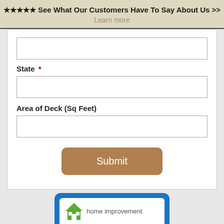★★★★★ See What Our Customers Have To Say About Us >>
Learn more
State *
Area of Deck (Sq Feet)
Submit
[Figure (logo): Home improvement logo with green house icon and text 'home improvement']